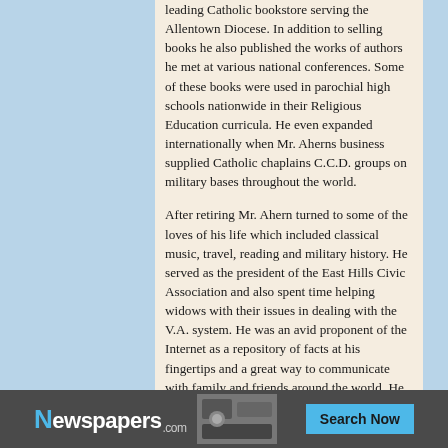leading Catholic bookstore serving the Allentown Diocese. In addition to selling books he also published the works of authors he met at various national conferences. Some of these books were used in parochial high schools nationwide in their Religious Education curricula. He even expanded internationally when Mr. Aherns business supplied Catholic chaplains C.C.D. groups on military bases throughout the world.
After retiring Mr. Ahern turned to some of the loves of his life which included classical music, travel, reading and military history. He served as the president of the East Hills Civic Association and also spent time helping widows with their issues in dealing with the V.A. system. He was an avid proponent of the Internet as a repository of facts at his fingertips and a great way to communicate with family and friends around the world. He enjoyed getting weekly updates from his
[Figure (other): Advertisement banner for Newspapers.com with logo and Search Now button]